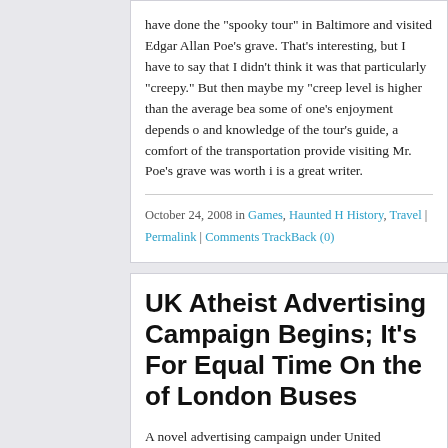have done the "spooky tour" in Baltimore and visited Edgar Allan Poe's grave. That's interesting, but I have to say that I didn't think it was that particularly "creepy." But then maybe my "creepy" tolerance level is higher than the average bear. I also feel some of one's enjoyment depends on the knowledge and knowledge of the tour's guide, and even the comfort of the transportation provided. But visiting Mr. Poe's grave was worth it, because he is a great writer.
October 24, 2008 in Games, Haunted History, Travel | Permalink | Comments | TrackBack (0)
UK Atheist Advertising Campaign Begins; It's For Equal Time On the of London Buses
A novel advertising campaign underway in the United Kingdom reads "There's probably no God. Now, stop worrying and enjoy your life." Residents will see it on the sides of buses, and perhaps, based on the amount of money rolling in, on posters, and elsewhere